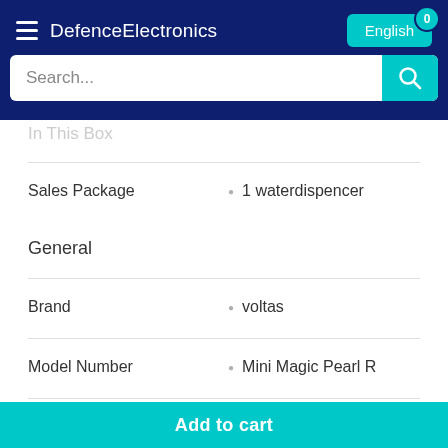DefenceElectronics
English
Search...
In This Box
Sales Package • 1 waterdispencer
General
Brand • voltas
Model Number • Mini Magic Pearl R
Add to cart